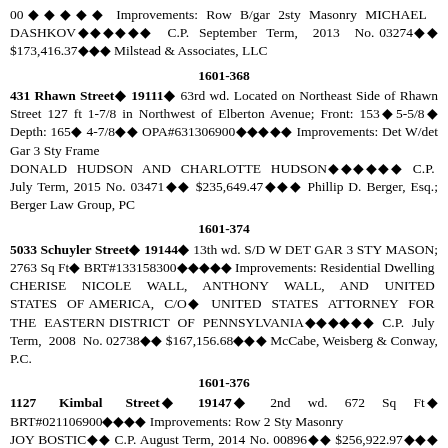00◆◆◆◆◆ Improvements: Row B/gar 2sty Masonry MICHAEL DASHKOV◆◆◆◆◆◆ C.P. September Term, 2013 No. 03274◆◆ $173,416.37◆◆◆ Milstead & Associates, LLC
1601-368
431 Rhawn Street◆ 19111◆ 63rd wd. Located on Northeast Side of Rhawn Street 127 ft 1-7/8 in Northwest of Elberton Avenue; Front: 153◆5-5/8◆ Depth: 165◆ 4-7/8◆◆ OPA#631306900◆◆◆◆◆ Improvements: Det W/det Gar 3 Sty Frame DONALD HUDSON AND CHARLOTTE HUDSON◆◆◆◆◆◆ C.P. July Term, 2015 No. 03471◆◆ $235,649.47◆◆◆ Phillip D. Berger, Esq.; Berger Law Group, PC
1601-374
5033 Schuyler Street◆ 19144◆ 13th wd. S/D W DET GAR 3 STY MASON; 2763 Sq Ft◆ BRT#133158300◆◆◆◆◆ Improvements: Residential Dwelling CHERISE NICOLE WALL, ANTHONY WALL, AND UNITED STATES OF AMERICA, C/O◆ UNITED STATES ATTORNEY FOR THE EASTERN DISTRICT OF PENNSYLVANIA◆◆◆◆◆◆ C.P. July Term, 2008 No. 02738◆◆ $167,156.68◆◆◆ McCabe, Weisberg & Conway, P.C.
1601-376
1127 Kimbal Street◆ 19147◆ 2nd wd. 672 Sq Ft◆ BRT#021106900◆◆◆◆ Improvements: Row 2 Sty Masonry JOY BOSTIC◆◆ C.P. August Term, 2014 No. 00896◆◆ $256,922.97◆◆◆ Milstead & Associates, LLC
1601-377
6336 Brous Avenue◆ 19149◆ 62nd wd. 1047 Sq Ft◆